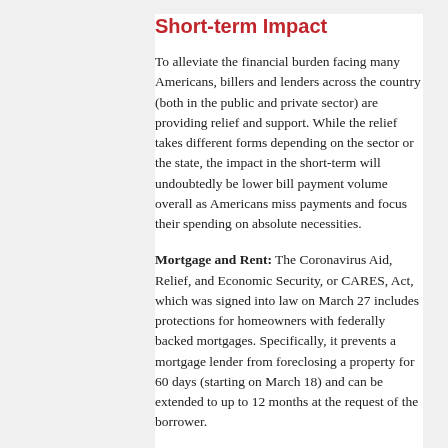Short-term Impact
To alleviate the financial burden facing many Americans, billers and lenders across the country (both in the public and private sector) are providing relief and support. While the relief takes different forms depending on the sector or the state, the impact in the short-term will undoubtedly be lower bill payment volume overall as Americans miss payments and focus their spending on absolute necessities.
Mortgage and Rent: The Coronavirus Aid, Relief, and Economic Security, or CARES, Act, which was signed into law on March 27 includes protections for homeowners with federally backed mortgages. Specifically, it prevents a mortgage lender from foreclosing a property for 60 days (starting on March 18) and can be extended to up to 12 months at the request of the borrower.
Private lenders are working with local